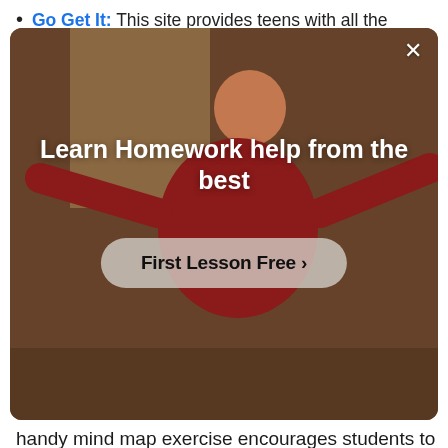Go Get It: This site provides teens with all the
[Figure (photo): Advertisement overlay showing a person in a red sweater with arms outstretched in a room. White bold text reads 'Learn Homework help from the best' with a frosted button saying 'First Lesson Free >' and a close (×) button in the top right corner.]
handy mind map exercise encourages students to get in touch with their creative side, in the hopes that they can identify their true interests and find their perfect career. Get that job: what employers want includes an interview with a top NI employer, and identifies important qualities students should aim to inquire – these include efficiency, flexibility, honesty and integrity, initiative and